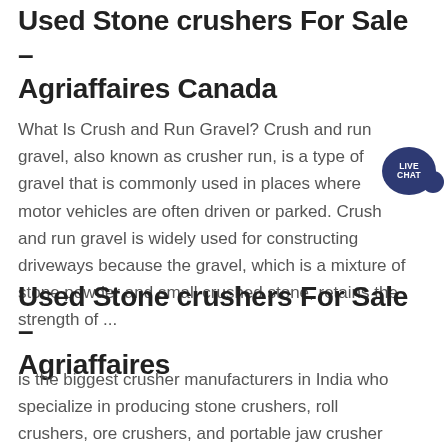Used Stone crushers For Sale - Agriaffaires Canada
What Is Crush and Run Gravel? Crush and run gravel, also known as crusher run, is a type of gravel that is commonly used in places where motor vehicles are often driven or parked. Crush and run gravel is widely used for constructing driveways because the gravel, which is a mixture of stone powder and small crushed stone, retains the strength of ...
Used Stone crushers For Sale - Agriaffaires
is the biggest crusher manufacturers in India who specialize in producing stone crushers, roll crushers, ore crushers, and portable jaw crusher suppliers.